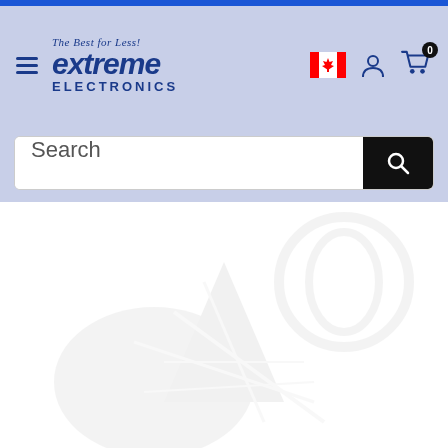[Figure (screenshot): Extreme Electronics website header with logo, Canada flag, user icon, cart icon with 0 badge, search bar, and faded product watermark image in content area below]
The Best for Less! extreme ELECTRONICS
Search